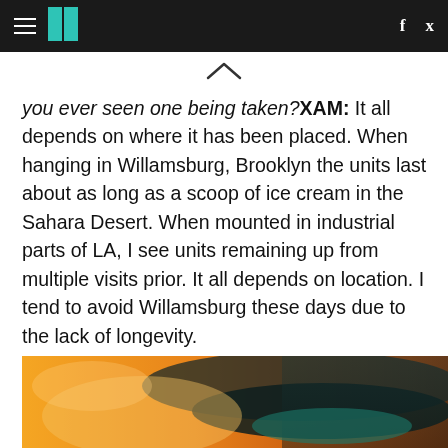HuffPost navigation bar with hamburger menu, logo, Facebook and Twitter icons
you ever seen one being taken? XAM: It all depends on where it has been placed. When hanging in Willamsburg, Brooklyn the units last about as long as a scoop of ice cream in the Sahara Desert. When mounted in industrial parts of LA, I see units remaining up from multiple visits prior. It all depends on location. I tend to avoid Willamsburg these days due to the lack of longevity.
[Figure (photo): Close-up photo of a tattooed hand or arm with warm orange/amber tones and teal/dark background elements]